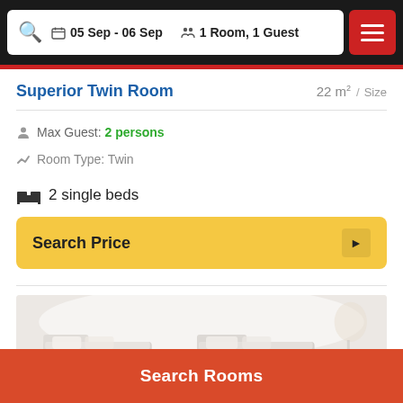05 Sep - 06 Sep | 1 Room, 1 Guest
Superior Twin Room
22 m² / Size
Max Guest: 2 persons
Room Type: Twin
2 single beds
Search Price
[Figure (photo): Hotel room photo showing two single beds with white bedding]
Search Rooms